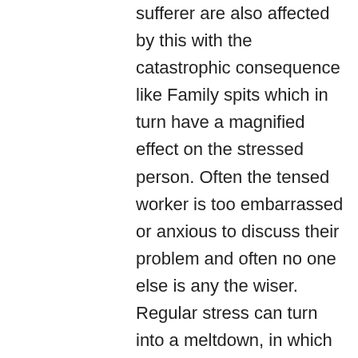sufferer are also affected by this with the catastrophic consequence like Family spits which in turn have a magnified effect on the stressed person. Often the tensed worker is too embarrassed or anxious to discuss their problem and often no one else is any the wiser. Regular stress can turn into a meltdown, in which a person is enabled to do some doubtful things. The most reliable of employees may suddenly become a vicious and scheming thug. Professional corporate investigations are offered at Private Investigator Maidenhead that will reveal the truth in a careful manner. In various businesses, in various job roles, Private Investigator Maidenhead is called in many cases to perform business